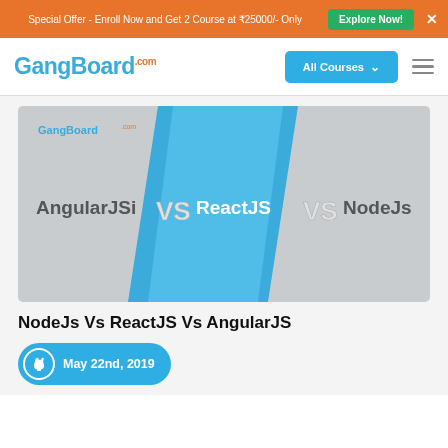Special Offer - Enroll Now and Get 2 Course at ₹25000/- Only   Explore Now!   ✕
[Figure (logo): GangBoard.com logo in blue text]
[Figure (illustration): Banner image showing AngularJSi VS ReactJS VS NodeJs text on a blue and grey diagonal background with GangBoard.com logo]
NodeJs Vs ReactJS Vs AngularJS
May 22nd, 2019